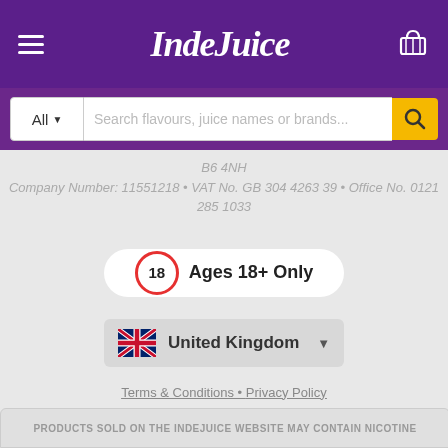[Figure (logo): IndeJuice website header with purple background, hamburger menu on left, IndeJuice cursive logo in center, basket icon on right]
[Figure (screenshot): Search bar with All dropdown, search placeholder text 'Search flavours, juice names or brands...', and yellow search button]
B6 4NH
Company Number: 11551218 • VAT No. GB 304 4263 39 • Office No. 0121 285 1033
[Figure (infographic): Ages 18+ Only badge with red circle containing 18, white pill-shaped container]
[Figure (infographic): United Kingdom country selector with UK flag and dropdown arrow on grey background]
Terms & Conditions • Privacy Policy
[Figure (logo): DMCA Protected badge, dark grey and black background with copyright symbol]
PRODUCTS SOLD ON THE INDEJUICE WEBSITE MAY CONTAIN NICOTINE